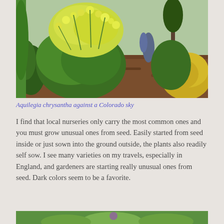[Figure (photo): Garden photo showing Aquilegia chrysantha plants with yellow flowers against a mulched garden bed, with other green foliage and a yellow shrub on the right.]
Aquilegia chrysantha against a Colorado sky
I find that local nurseries only carry the most common ones and you must grow unusual ones from seed. Easily started from seed inside or just sown into the ground outside, the plants also readily self sow. I see many varieties on my travels, especially in England, and gardeners are starting really unusual ones from seed. Dark colors seem to be a favorite.
[Figure (photo): Partial bottom photo, mostly cropped, showing green foliage.]